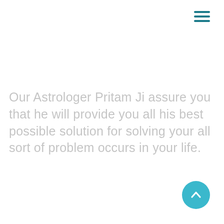[Figure (other): Hamburger menu icon with three teal horizontal lines in the top-right corner]
Our Astrologer Pritam Ji assure you that he will provide you all his best possible solution for solving your all sort of problem occurs in your life.
[Figure (other): Cyan/teal circular scroll-to-top button with an upward-pointing chevron arrow, bottom-right corner]